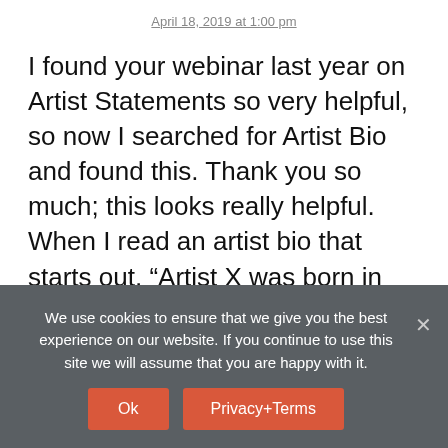April 18, 2019 at 1:00 pm
I found your webinar last year on Artist Statements so very helpful, so now I searched for Artist Bio and found this. Thank you so much; this looks really helpful. When I read an artist bio that starts out, “Artist X was born in Dayton, Ohio…” I lose interest right there. I love your ideas and look forward to improving my bio. Are there other blog posts with more information on this, or somewhere
We use cookies to ensure that we give you the best experience on our website. If you continue to use this site we will assume that you are happy with it.